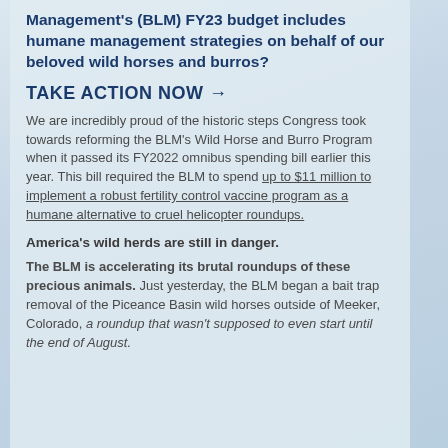Management's (BLM) FY23 budget includes humane management strategies on behalf of our beloved wild horses and burros?
TAKE ACTION NOW →
We are incredibly proud of the historic steps Congress took towards reforming the BLM's Wild Horse and Burro Program when it passed its FY2022 omnibus spending bill earlier this year. This bill required the BLM to spend up to $11 million to implement a robust fertility control vaccine program as a humane alternative to cruel helicopter roundups.
America's wild herds are still in danger.
The BLM is accelerating its brutal roundups of these precious animals. Just yesterday, the BLM began a bait trap removal of the Piceance Basin wild horses outside of Meeker, Colorado, a roundup that wasn't supposed to even start until the end of August.